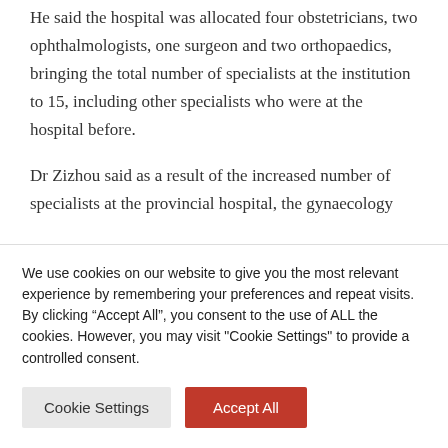He said the hospital was allocated four obstetricians, two ophthalmologists, one surgeon and two orthopaedics, bringing the total number of specialists at the institution to 15, including other specialists who were at the hospital before.
Dr Zizhou said as a result of the increased number of specialists at the provincial hospital, the gynaecology
We use cookies on our website to give you the most relevant experience by remembering your preferences and repeat visits. By clicking “Accept All”, you consent to the use of ALL the cookies. However, you may visit "Cookie Settings" to provide a controlled consent.